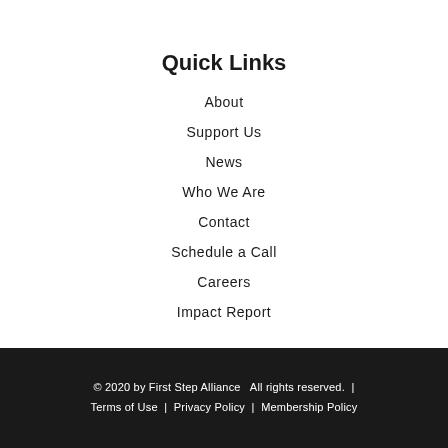Quick Links
About
Support Us
News
Who We Are
Contact
Schedule a Call
Careers
Impact Report
© 2020 by First Step Alliance   All rights reserved.  |  Terms of Use  |  Privacy Policy  |  Membership Policy